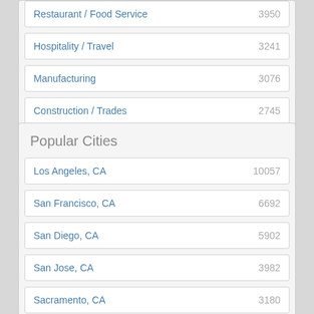Restaurant / Food Service 3950
Hospitality / Travel 3241
Manufacturing 3076
Construction / Trades 2745
Popular Cities
Los Angeles, CA 10057
San Francisco, CA 6692
San Diego, CA 5902
San Jose, CA 3982
Sacramento, CA 3180
Irvine, CA 2513
Oakland, CA 2011
Fresno, CA 1799
Sunnyvale, CA 1750